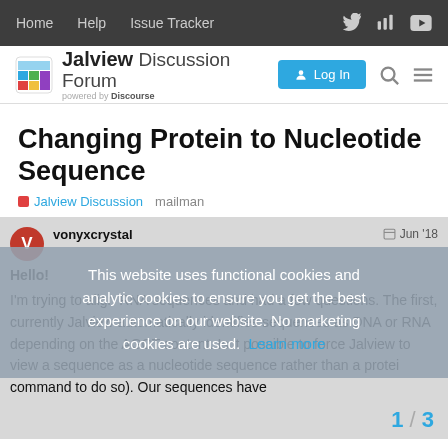Home   Help   Issue Tracker
[Figure (logo): Jalview Discussion Forum logo bar with Log In button]
Changing Protein to Nucleotide Sequence
Jalview Discussion   mailman
vonyxcrystal   Jun '18
Hello!
I'm trying to align RNA sequences and had a few questions. The first, currently Jalview automatically identifies sequences as DNA or RNA depending on the AGCT content. Is it possible to force Jalview to view a sequence as a nucleotide sequence rather than a protei command to do so). Our sequences have
This website uses functional cookies and analytic cookies to ensure you get the best experience on our website. No marketing cookies are used. Learn more
1 / 3